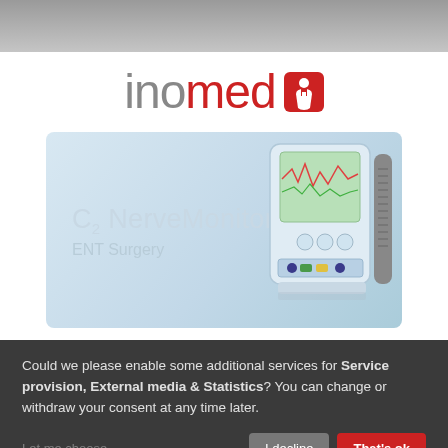[Figure (logo): inomed logo with red icon — gray 'ino' text, red 'med' text, red square icon with white medical cross/figure]
[Figure (photo): C2 NerveMonitor ENT Surgery product image — a medical nerve monitoring device (blue and white touchscreen unit) on a light blue-gray gradient background with text 'C2 NerveMonitor' and 'ENT Surgery']
Could we please enable some additional services for Service provision, External media & Statistics? You can change or withdraw your consent at any time later.
Let me choose...